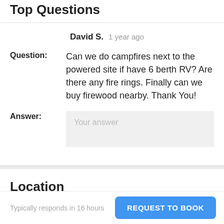Top Questions
David S.  1 year ago
Question: Can we do campfires next to the powered site if have 6 berth RV? Are there any fire rings. Finally can we buy firewood nearby. Thank You!
Answer: Your answer
Location
Typically responds in 16 hours
REQUEST TO BOOK